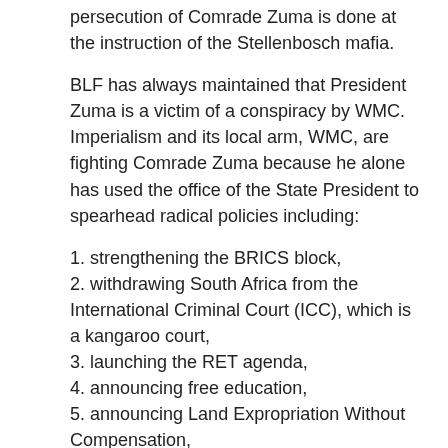persecution of Comrade Zuma is done at the instruction of the Stellenbosch mafia.
BLF has always maintained that President Zuma is a victim of a conspiracy by WMC. Imperialism and its local arm, WMC, are fighting Comrade Zuma because he alone has used the office of the State President to spearhead radical policies including:
1. strengthening the BRICS block,
2. withdrawing South Africa from the International Criminal Court (ICC), which is a kangaroo court,
3. launching the RET agenda,
4. announcing free education,
5. announcing Land Expropriation Without Compensation,
6. calling for black unity to defeat WMC and return land.
7. amending the Competition Act so as to enable the law to hold corporate thugs personally liable for corruption, and
8. launching the Revised Mining Charter which gives blacks 30% ownership in 12 months and prescribes over 50% black ownership in respect of procurement.
The above are some of the measures that has angered